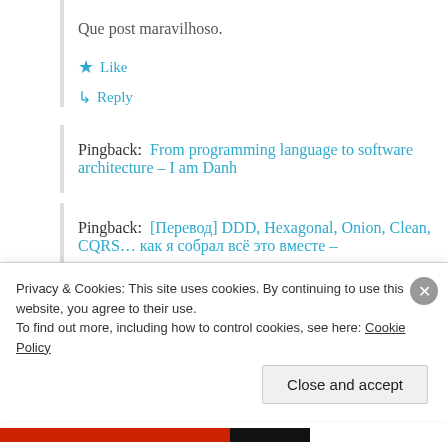Que post maravilhoso.
★ Like
↳ Reply
Pingback:  From programming language to software architecture – I am Danh
Pingback:  [Перевод] DDD, Hexagonal, Onion, Clean, CQRS… как я собрал всё это вместе –
Privacy & Cookies: This site uses cookies. By continuing to use this website, you agree to their use.
To find out more, including how to control cookies, see here: Cookie Policy
Close and accept